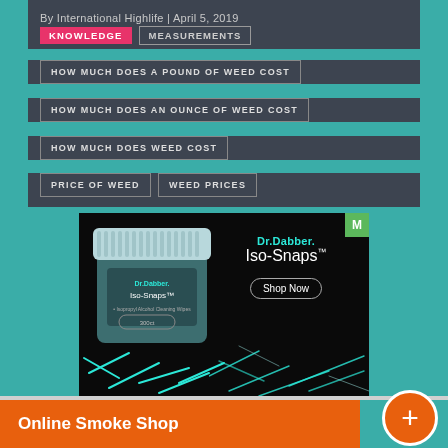By International Highlife | April 5, 2019
KNOWLEDGE
MEASUREMENTS
HOW MUCH DOES A POUND OF WEED COST
HOW MUCH DOES AN OUNCE OF WEED COST
HOW MUCH DOES WEED COST
PRICE OF WEED
WEED PRICES
[Figure (photo): Dr.Dabber Iso-Snaps advertisement showing product jar and cotton swabs on black background with 'Shop Now' button]
Online Smoke Shop